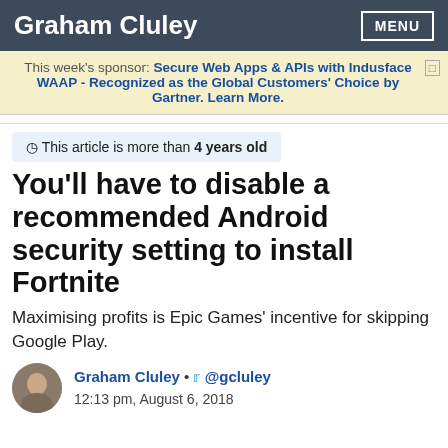Graham Cluley
This week's sponsor: Secure Web Apps & APIs with Indusface WAAP - Recognized as the Global Customers' Choice by Gartner. Learn More.
This article is more than 4 years old
You'll have to disable a recommended Android security setting to install Fortnite
Maximising profits is Epic Games' incentive for skipping Google Play.
Graham Cluley • @gcluley
12:13 pm, August 6, 2018